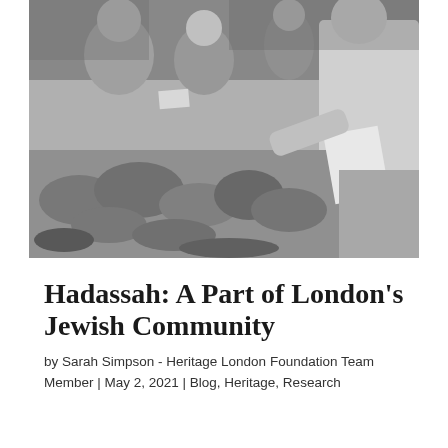[Figure (photo): Black and white photograph of people at an outdoor market stall. Several women are laughing and smiling, holding papers or money. A man on the right is handing something across a table piled with what appears to be bread or bagels. The scene is lively and crowded.]
Hadassah: A Part of London's Jewish Community
by Sarah Simpson - Heritage London Foundation Team Member | May 2, 2021 | Blog, Heritage, Research